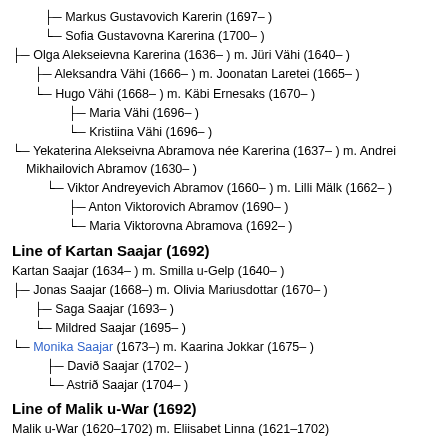├─ Markus Gustavovich Karerin (1697– )
└─ Sofia Gustavovna Karerina (1700– )
├─ Olga Alekseievna Karerina (1636– ) m. Jüri Vähi (1640– )
├─ Aleksandra Vähi (1666– ) m. Joonatan Laretei (1665– )
└─ Hugo Vähi (1668– ) m. Käbi Ernesaks (1670– )
├─ Maria Vähi (1696– )
└─ Kristiina Vähi (1696– )
└─ Yekaterina Alekseivna Abramova née Karerina (1637– ) m. Andrei Mikhailovich Abramov (1630– )
└─ Viktor Andreyevich Abramov (1660– ) m. Lilli Mälk (1662– )
├─ Anton Viktorovich Abramov (1690– )
└─ Maria Viktorovna Abramova (1692– )
Line of Kartan Saajar (1692)
Kartan Saajar (1634– ) m. Smilla u-Gelp (1640– )
├─ Jonas Saajar (1668–) m. Olivia Mariusdottar (1670– )
├─ Saga Saajar (1693– )
└─ Mildred Saajar (1695– )
└─ Monika Saajar (1673–) m. Kaarina Jokkar (1675– )
├─ Davið Saajar (1702– )
└─ Astrið Saajar (1704– )
Line of Malik u-War (1692)
Malik u-War (1620–1702) m. Eliisabet Linna (1621–1702)